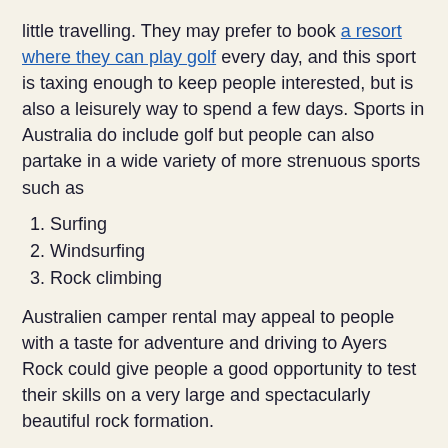little travelling. They may prefer to book a resort where they can play golf every day, and this sport is taxing enough to keep people interested, but is also a leisurely way to spend a few days. Sports in Australia do include golf but people can also partake in a wide variety of more strenuous sports such as
1. Surfing
2. Windsurfing
3. Rock climbing
Australien camper rental may appeal to people with a taste for adventure and driving to Ayers Rock could give people a good opportunity to test their skills on a very large and spectacularly beautiful rock formation.
Beautiful landscapes
The Southern Hemisphere has some very beautiful landscapes, some natural and others that are manmade. Golf courses for example are created by people but can look very stunning indeed if they're well maintained. They may also be located in large open areas that are indeed beautiful in their own right. Natural landscapes may interest